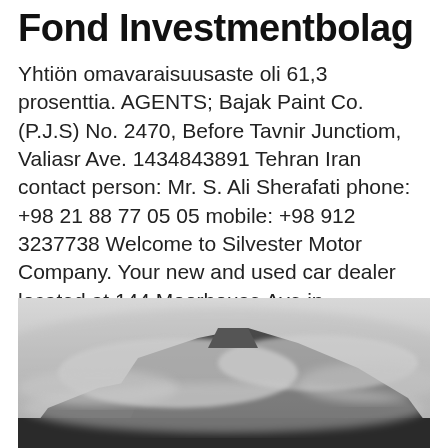Fond Investmentbolag
Yhtiön omavaraisuusaste oli 61,3 prosenttia. AGENTS; Bajak Paint Co. (P.J.S) No. 2470, Before Tavnir Junctiom, Valiasr Ave. 1434843891 Tehran Iran contact person: Mr. S. Ali Sherafati phone: +98 21 88 77 05 05 mobile: +98 912 3237738 Welcome to Silvester Motor Company. Your new and used car dealer located at 144 Moorhouse Ave in Christchurch.
[Figure (photo): Black and white photograph of a mountain peak partially obscured by clouds and mist, with forested lower slopes visible]